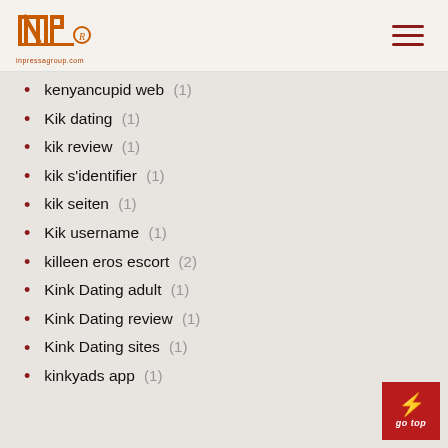INP logo and navigation
kenyancupid web (1)
Kik dating (1)
kik review (1)
kik s'identifier (1)
kik seiten (1)
Kik username (1)
killeen eros escort (2)
Kink Dating adult (1)
Kink Dating review (1)
Kink Dating sites (1)
kinkyads app (1)